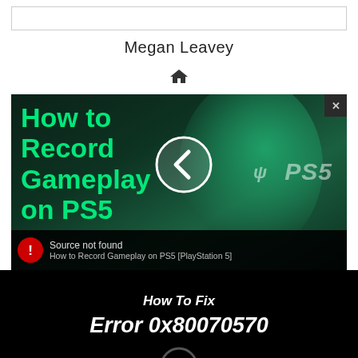Megan Leavey
[Figure (screenshot): Screenshot of a webpage showing a thumbnail for 'How to Record Gameplay on PS5' article with green text on dark background. A media player error overlay shows 'Source not found' with subtitle 'How to Record Gameplay on PS5 [PlayStation 5]' and a red error icon. An X close button is in the top right corner.]
How To Fix
Error 0x80070570